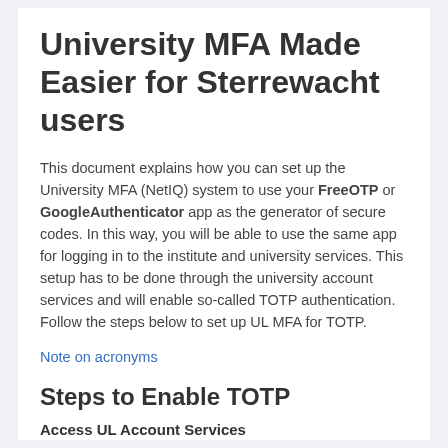University MFA Made Easier for Sterrewacht users
This document explains how you can set up the University MFA (NetIQ) system to use your FreeOTP or GoogleAuthenticator app as the generator of secure codes. In this way, you will be able to use the same app for logging in to the institute and university services. This setup has to be done through the university account services and will enable so-called TOTP authentication. Follow the steps below to set up UL MFA for TOTP.
Note on acronyms
Steps to Enable TOTP
Access UL Account Services